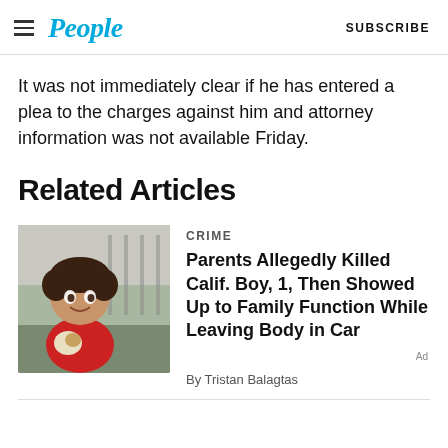People | SUBSCRIBE
It was not immediately clear if he has entered a plea to the charges against him and attorney information was not available Friday.
Related Articles
[Figure (photo): Thumbnail photo of a young child with curly hair wearing a red outfit, smiling, outdoors.]
CRIME
Parents Allegedly Killed Calif. Boy, 1, Then Showed Up to Family Function While Leaving Body in Car
By Tristan Balagtas